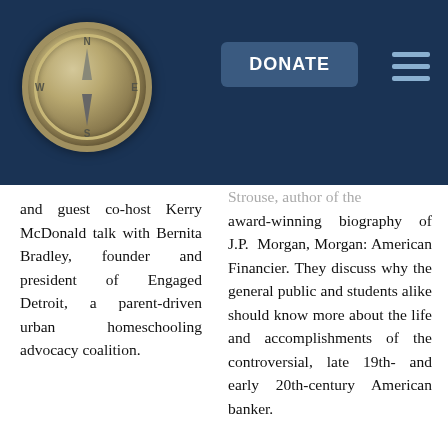[Figure (logo): Compass logo on dark blue header background with DONATE button and hamburger menu icon]
and guest co-host Kerry McDonald talk with Bernita Bradley, founder and president of Engaged Detroit, a parent-driven urban homeschooling advocacy coalition.
Strouse, author of the award-winning biography of J.P. Morgan, Morgan: American Financier. They discuss why the general public and students alike should know more about the life and accomplishments of the controversial, late 19th- and early 20th-century American banker.